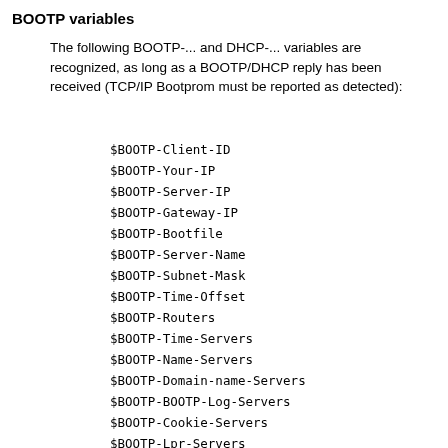BOOTP variables
The following BOOTP-... and DHCP-... variables are recognized, as long as a BOOTP/DHCP reply has been received (TCP/IP Bootprom must be reported as detected):
$BOOTP-Client-ID
$BOOTP-Your-IP
$BOOTP-Server-IP
$BOOTP-Gateway-IP
$BOOTP-Bootfile
$BOOTP-Server-Name
$BOOTP-Subnet-Mask
$BOOTP-Time-Offset
$BOOTP-Routers
$BOOTP-Time-Servers
$BOOTP-Name-Servers
$BOOTP-Domain-name-Servers
$BOOTP-BOOTP-Log-Servers
$BOOTP-Cookie-Servers
$BOOTP-Lpr-Servers
$BOOTP-Impress-Servers
$BOOTP-Resource-Location-Servers
$BOOTP-Host-Name
$BOOTP-Boot-Size
$BOOTP-Merit-Dump
$BOOTP-Domain-Name
$BOOTP-Swap-Servers
$BOOTP-Root-Path